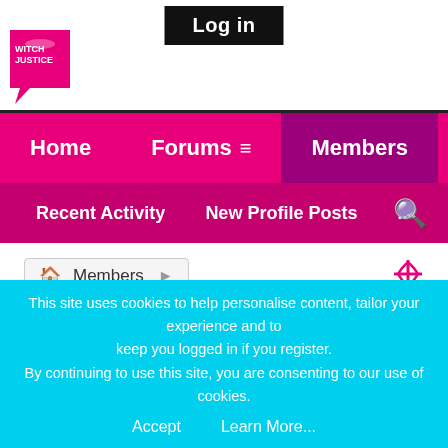[Figure (logo): Witch Justice forum logo - pink speech bubble with text]
Log in
Home   Forums ≡   Members
Recent Activity   New Profile Posts   ...
Members
NobodyKnowsMe's Recent Activity
This site uses cookies to help personalise content, tailor your experience and to keep you logged in if you register.
By continuing to use this site, you are consenting to our use of cookies.
Accept   Learn More...